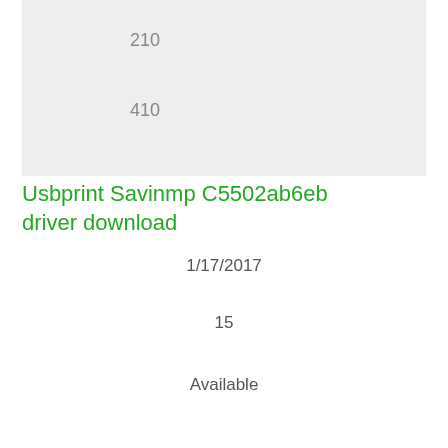[Figure (other): Gray rectangular box background area containing numeric labels 210 and 410]
210
410
Usbprint Savinmp C5502ab6eb driver download
1/17/2017
15
Available